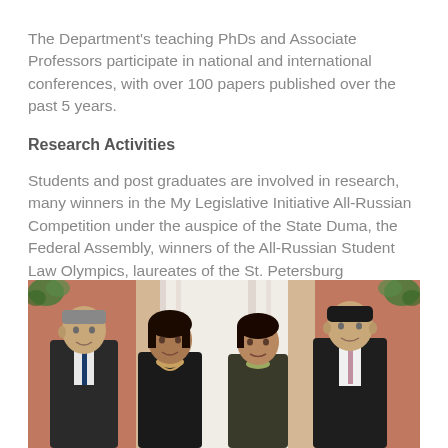The Department's teaching PhDs and Associate Professors participate in national and international conferences, with over 100 papers published over the past 5 years.
Research Activities
Students and post graduates are involved in research, many winners in the My Legislative Initiative All-Russian Competition under the auspice of the State Duma, the Federal Assembly, winners of the All-Russian Student Law Olympics, laureates of the St. Petersburg Government Contest of best graduation papers, etc.
The findings are published in SUAI :Law. Legislation. State journal.
[Figure (photo): Group photo of four people (two men and two women) standing together in formal attire in front of a decorative background with curtains and plants]